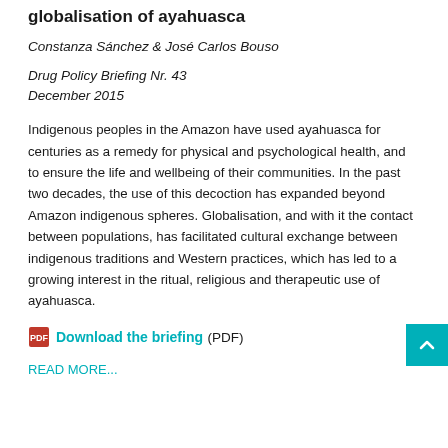globalisation of ayahuasca
Constanza Sánchez & José Carlos Bouso
Drug Policy Briefing Nr. 43
December 2015
Indigenous peoples in the Amazon have used ayahuasca for centuries as a remedy for physical and psychological health, and to ensure the life and wellbeing of their communities. In the past two decades, the use of this decoction has expanded beyond Amazon indigenous spheres. Globalisation, and with it the contact between populations, has facilitated cultural exchange between indigenous traditions and Western practices, which has led to a growing interest in the ritual, religious and therapeutic use of ayahuasca.
Download the briefing (PDF)
READ MORE...